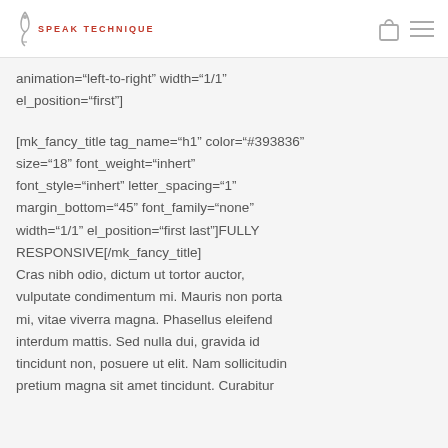SPEAK TECHNIQUE
animation="left-to-right" width="1/1" el_position="first"]
[mk_fancy_title tag_name="h1" color="#393836" size="18" font_weight="inhert" font_style="inhert" letter_spacing="1" margin_bottom="45" font_family="none" width="1/1" el_position="first last"]FULLY RESPONSIVE[/mk_fancy_title] Cras nibh odio, dictum ut tortor auctor, vulputate condimentum mi. Mauris non porta mi, vitae viverra magna. Phasellus eleifend interdum mattis. Sed nulla dui, gravida id tincidunt non, posuere ut elit. Nam sollicitudin pretium magna sit amet tincidunt. Curabitur